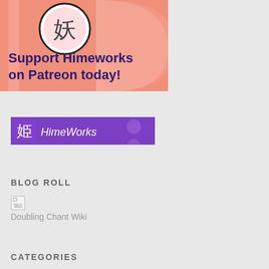[Figure (illustration): Patreon support banner with salmon/pink background, Japanese kanji character in a circle, large decorative P shape, and bold dark purple text reading 'Support Himeworks on Patreon today!']
[Figure (logo): HimeWorks banner logo with purple background, Japanese kanji '姫' character and 'HimeWorks' text in white stylized font, with silhouette figure in background]
BLOG ROLL
[Figure (illustration): Broken/missing image placeholder icon]
Doubling Chant Wiki
CATEGORIES